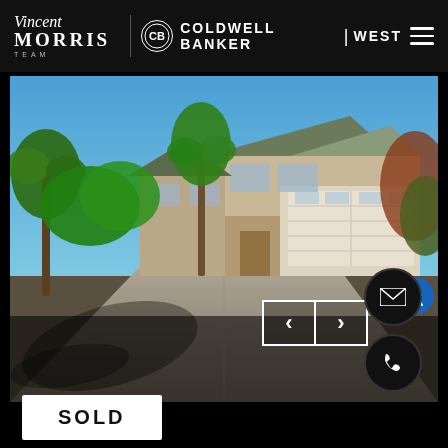[Figure (logo): Vincent Morris Team logo with script 'Vincent' above bold 'MORRIS' and 'TEAM' text in white on black header]
[Figure (logo): Coldwell Banker West logo with circular CB emblem and bold text 'COLDWELL BANKER | WEST' in white]
[Figure (photo): Exterior photo of a beige two-story residential home with palm trees, large white garage door, concrete driveway, lush tropical landscaping, and blue sky]
SOLD